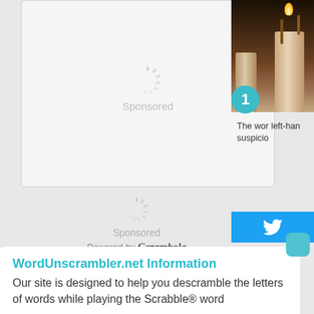[Figure (other): Sponsored ad placeholder box with loading spinner and 'Sponsored' text]
[Figure (other): Second sponsored placeholder with spinner, 'Sponsored' text, and 'Powered by Carambola' attribution]
[Figure (photo): Photo of lit candles with wax drips, partially visible on right side]
The wor left-han suspicio
[Figure (other): Twitter share button (blue bar with bird icon)]
WordUnscrambler.net Information
Our site is designed to help you descramble the letters of words while playing the Scrabble® word